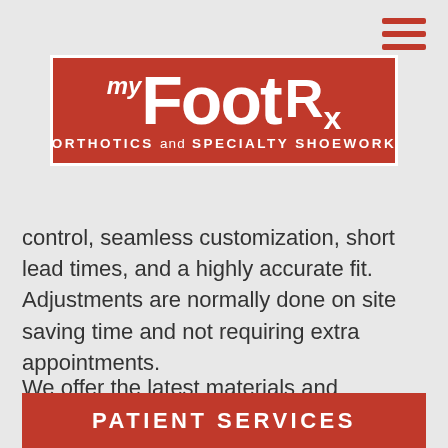[Figure (logo): My Foot Rx logo — red background with white text reading 'my Foot Rx ORTHOTICS and SPECIALTY SHOEWORK']
control, seamless customization, short lead times, and a highly accurate fit. Adjustments are normally done on site saving time and not requiring extra appointments.
We offer the latest materials and manufacturing techniques crafted by highly skilled technicians and will quickly meet your individual requirements for specialty shoe work.
PATIENT SERVICES